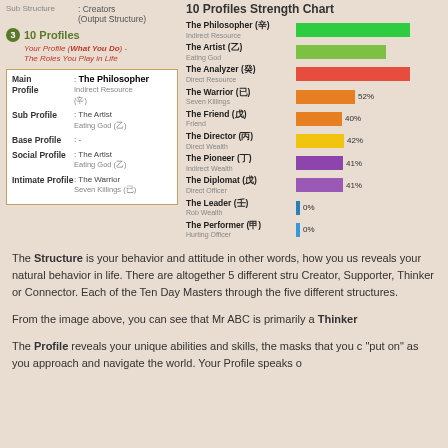Sub Structure : Creators (Output Structure)
3 10 Profiles
Your Profile (What You Do) - The Roles You Play in Life
| Field | Value |
| --- | --- |
| Main Profile | The Philosopher
Indirect Resource (辛) |
| Sub Profile | The Artist
Eating God (乙) |
| Base Profile | :- |
| Social Profile | The Artist
Eating God (乙) |
| Intimate Profile | The Warrior
Seven Killings (已) |
[Figure (bar-chart): 10 Profiles Strength Chart]
The Structure is your behavior and attitude in other words, how you use reveals your natural behavior in life. There are altogether 5 different stru Creator, Supporter, Thinker or Connector. Each of the Ten Day Masters through the five different structures.
From the image above, you can see that Mr ABC is primarily a Thinker
The Profile reveals your unique abilities and skills, the masks that you "put on" as you approach and navigate the world. Your Profile speaks o